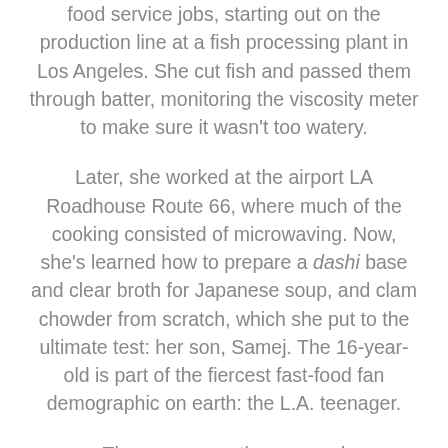food service jobs, starting out on the production line at a fish processing plant in Los Angeles. She cut fish and passed them through batter, monitoring the viscosity meter to make sure it wasn't too watery.
Later, she worked at the airport LA Roadhouse Route 66, where much of the cooking consisted of microwaving. Now, she's learned how to prepare a dashi base and clear broth for Japanese soup, and clam chowder from scratch, which she put to the ultimate test: her son, Samej. The 16-year-old is part of the fiercest fast-food fan demographic on earth: the L.A. teenager.
The soup more than passed